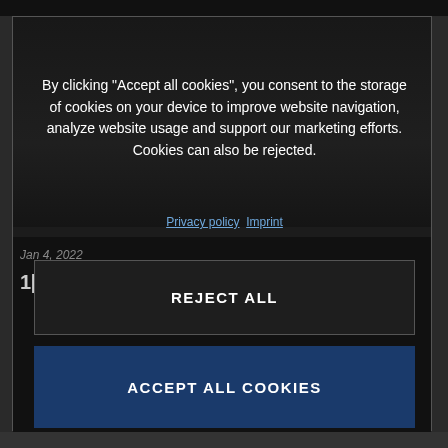[Figure (screenshot): Cookie consent dialog overlay on a dark website. The dialog contains text explaining cookie usage, links to Privacy policy and Imprint, a REJECT ALL button, and an ACCEPT ALL COOKIES button. Behind the dialog is a dark background with partially visible article content including a date 'Jan 4, 2022' and a partial article title '1[61-70: By a whisper...'.]
By clicking “Accept all cookies”, you consent to the storage of cookies on your device to improve website navigation, analyze website usage and support our marketing efforts. Cookies can also be rejected.
Privacy policy  Imprint
Jan 4, 2022
1[61-70: By a whisper...
REJECT ALL
ACCEPT ALL COOKIES